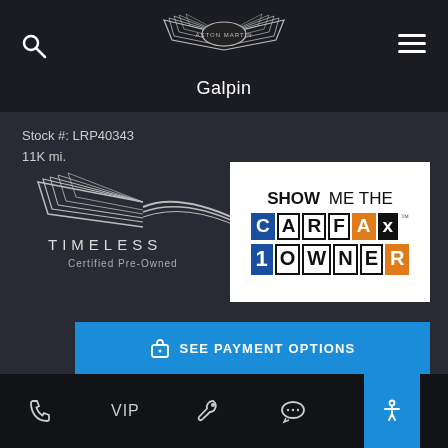[Figure (logo): Aston Martin winged logo with text 'ASTON MARTIN' centered top of page]
Galpin
Stock #: LRP40343
11K mi.
[Figure (logo): Timeless Certified Pre-Owned logo with wing graphic]
[Figure (logo): SHOW ME THE CARFAX 1 OWNER badge]
SEE PAYMENT OPTIONS
+ GET MORE INFORMATION
MSRP
CALL
Phone  VIP  Wrench  Chat  Accessibility